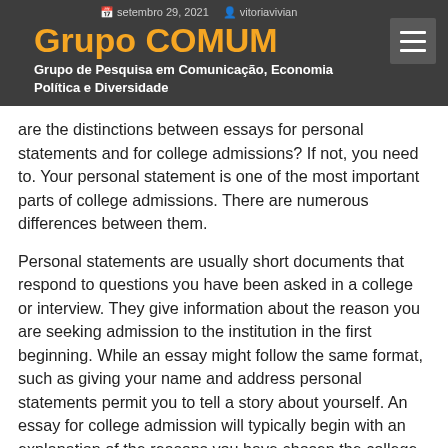setembro 29, 2021   vitoriavivian
Grupo COMUM
Grupo de Pesquisa em Comunicação, Economia Política e Diversidade
are the distinctions between essays for personal statements and for college admissions? If not, you need to. Your personal statement is one of the most important parts of college admissions. There are numerous differences between them.
Personal statements are usually short documents that respond to questions you have been asked in a college or interview. They give information about the reason you are seeking admission to the institution in the first beginning. While an essay might follow the same format, such as giving your name and address personal statements permit you to tell a story about yourself. An essay for college admission will typically begin with an explanation of the reasons you have chosen the college and the reasons you think you are the right candidate to it. It could also include evidence or other factors